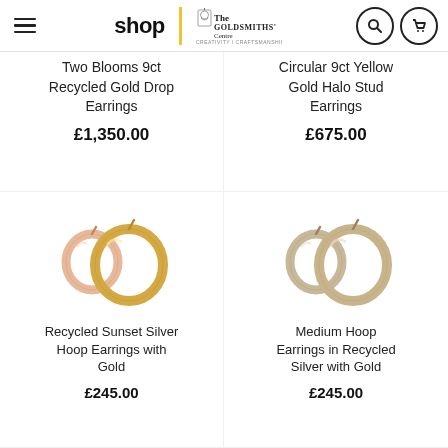shop | The Goldsmiths' Centre
Two Blooms 9ct Recycled Gold Drop Earrings
£1,350.00
Circular 9ct Yellow Gold Halo Stud Earrings
£675.00
[Figure (photo): Two gold hoop earrings - Recycled Sunset Silver Hoop Earrings with Gold, rose gold and yellow gold tones]
Recycled Sunset Silver Hoop Earrings with Gold
£245.00
[Figure (photo): Two silver/gold hoop earrings - Medium Hoop Earrings in Recycled Silver with Gold]
Medium Hoop Earrings in Recycled Silver with Gold
£245.00